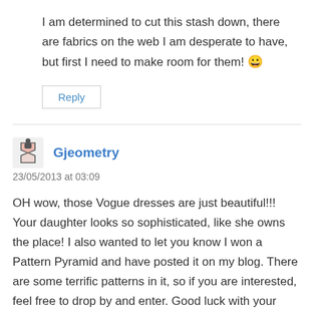I am determined to cut this stash down, there are fabrics on the web I am desperate to have, but first I need to make room for them! 😀
Reply
Gjeometry
23/05/2013 at 03:09
OH wow, those Vogue dresses are just beautiful!!! Your daughter looks so sophisticated, like she owns the place! I also wanted to let you know I won a Pattern Pyramid and have posted it on my blog. There are some terrific patterns in it, so if you are interested, feel free to drop by and enter. Good luck with your Burda